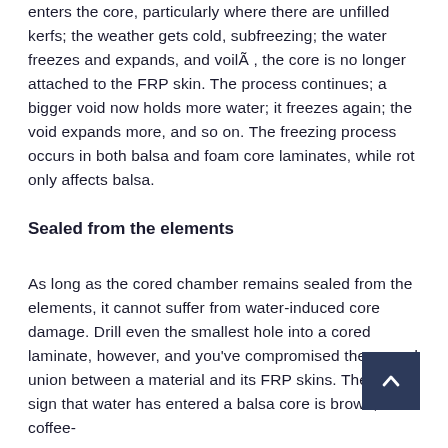enters the core, particularly where there are unfilled kerfs; the weather gets cold, subfreezing; the water freezes and expands, and voilÃ , the core is no longer attached to the FRP skin. The process continues; a bigger void now holds more water; it freezes again; the void expands more, and so on. The freezing process occurs in both balsa and foam core laminates, while rot only affects balsa.
Sealed from the elements
As long as the cored chamber remains sealed from the elements, it cannot suffer from water-induced core damage. Drill even the smallest hole into a cored laminate, however, and you've compromised the sacred union between a material and its FRP skins. The telltale sign that water has entered a balsa core is brown, coffee-